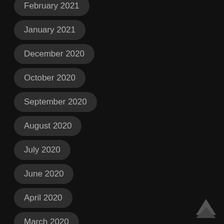February 2021
January 2021
December 2020
October 2020
September 2020
August 2020
July 2020
June 2020
April 2020
March 2020
December 2019
November 2019
[Figure (illustration): Back to top arrow icon in bottom right corner]